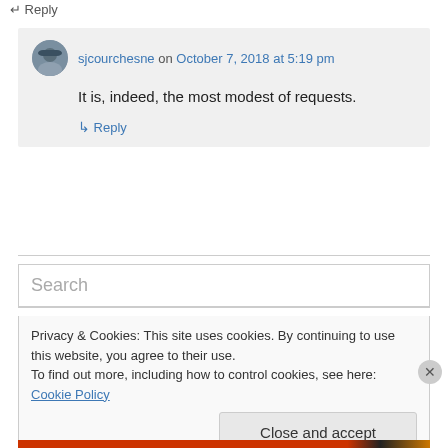↵ Reply
sjcourchesne on October 7, 2018 at 5:19 pm
It is, indeed, the most modest of requests.
↳ Reply
Search
Privacy & Cookies: This site uses cookies. By continuing to use this website, you agree to their use.
To find out more, including how to control cookies, see here: Cookie Policy
Close and accept